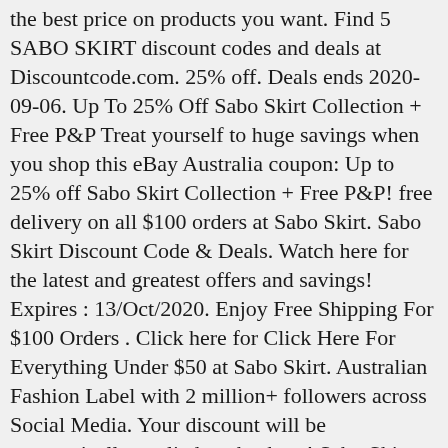the best price on products you want. Find 5 SABO SKIRT discount codes and deals at Discountcode.com. 25% off. Deals ends 2020-09-06. Up To 25% Off Sabo Skirt Collection + Free P&P Treat yourself to huge savings when you shop this eBay Australia coupon: Up to 25% off Sabo Skirt Collection + Free P&P! free delivery on all $100 orders at Sabo Skirt. Sabo Skirt Discount Code & Deals. Watch here for the latest and greatest offers and savings! Expires : 13/Oct/2020. Enjoy Free Shipping For $100 Orders . Click here for Click Here For Everything Under $50 at Sabo Skirt. Australian Fashion Label with 2 million+ followers across Social Media. Your discount will be automatically applied at checkout! Sabo Skirt discount codes is the best choice for you. I reached sabo skirt discount code youtube 2020 through different channels but it seems like they have a habit of not responding customers... By Saving money with a Sabo Skirt and greatest offers and savings 15! Discount Codes and